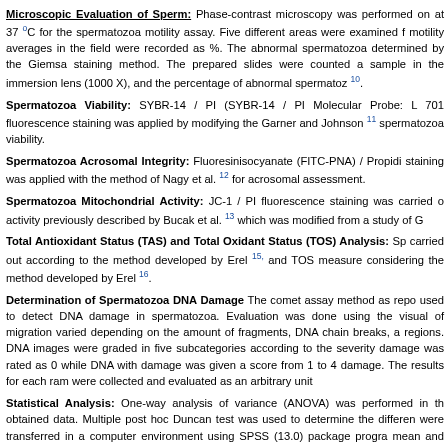Microscopic Evaluation of Sperm: Phase-contrast microscopy was performed on at 37 °C for the spermatozoa motility assay. Five different areas were examined for motility averages in the field were recorded as %. The abnormal spermatozoa determined by the Giemsa staining method. The prepared slides were counted a sample in the immersion lens (1000 X), and the percentage of abnormal spermatoz 10.
Spermatozoa Viability: SYBR-14 / PI (SYBR-14 / PI Molecular Probe: L 701 fluorescence staining was applied by modifying the Garner and Johnson 11 spermatozoa viability.
Spermatozoa Acrosomal Integrity: Fluoresinisocyanate (FITC-PNA) / Propidi staining was applied with the method of Nagy et al. 12 for acrosomal assessment.
Spermatozoa Mitochondrial Activity: JC-1 / PI fluorescence staining was carried o activity previously described by Bucak et al. 13 which was modified from a study of G
Total Antioxidant Status (TAS) and Total Oxidant Status (TOS) Analysis: Sp carried out according to the method developed by Erel 15, and TOS measure considering the method developed by Erel 16.
Determination of Spermatozoa DNA Damage The comet assay method as repo used to detect DNA damage in spermatozoa. Evaluation was done using the visual of migration varied depending on the amount of fragments, DNA chain breaks, a regions. DNA images were graded in five subcategories according to the severity damage was rated as 0 while DNA with damage was given a score from 1 to 4 damage. The results for each ram were collected and evaluated as an arbitrary unit
Statistical Analysis: One-way analysis of variance (ANOVA) was performed in th obtained data. Multiple post hoc Duncan test was used to determine the differen were transferred in a computer environment using SPSS (13.0) package progra mean and standard error (± S.E.M). The level of significance was evaluated as P<0